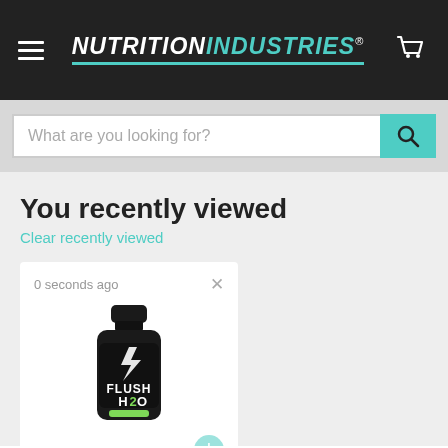[Figure (logo): Nutrition Industries logo with hamburger menu and cart icon on dark header]
[Figure (screenshot): Search bar with placeholder text 'What are you looking for?' and teal search button]
You recently viewed
Clear recently viewed
[Figure (photo): Product card showing 'Flush H2O' supplement bottle, viewed 0 seconds ago, with close button and add to cart icon]